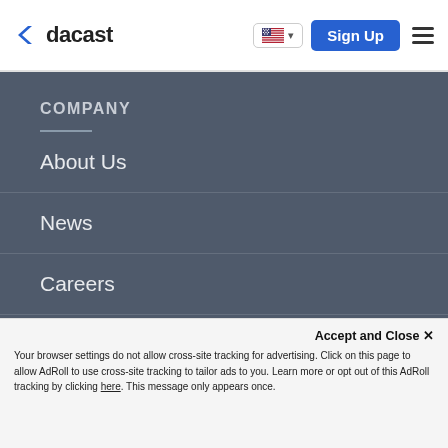dacast
COMPANY
About Us
News
Careers
Partners
Contact
Accept and Close ✕
Your browser settings do not allow cross-site tracking for advertising. Click on this page to allow AdRoll to use cross-site tracking to tailor ads to you. Learn more or opt out of this AdRoll tracking by clicking here. This message only appears once.